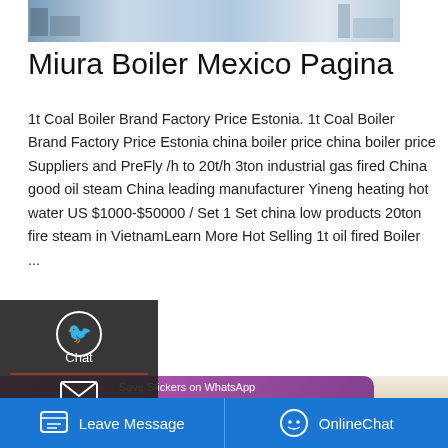[Figure (photo): Partial view of industrial/warehouse scene with equipment, top of page]
Miura Boiler Mexico Pagina
1t Coal Boiler Brand Factory Price Estonia. 1t Coal Boiler Brand Factory Price Estonia china boiler price china boiler price Suppliers and PreFly /h to 20t/h 3ton industrial gas fired China good oil steam China leading manufacturer Yineng heating hot water US $1000-$50000 / Set 1 Set china low products 20ton fire steam in VietnamLearn More Hot Selling 1t oil fired Boiler ...
[Figure (screenshot): Left sidebar overlay with Chat, Email, Contact icons and Get a Quote button]
[Figure (screenshot): WhatsApp sticker save banner with green phone icon and pink emoji icon]
[Figure (photo): Bottom right image showing orange and red striped barrier/construction element]
Leave Message
OnlineChat